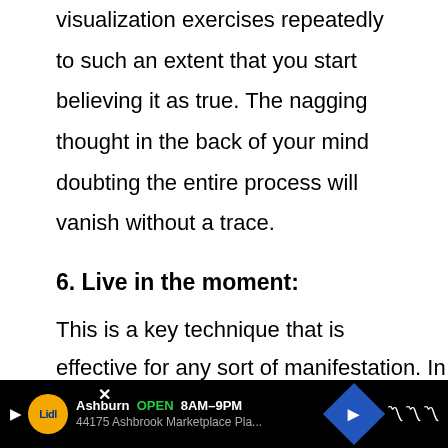visualization exercises repeatedly to such an extent that you start believing it as true. The nagging thought in the back of your mind doubting the entire process will vanish without a trace.
6. Live in the moment:
This is a key technique that is most often forgotten and ignored. Easy and simple to incorporate, living in the moment is highly effective for any sort of manifestation. In fact, it